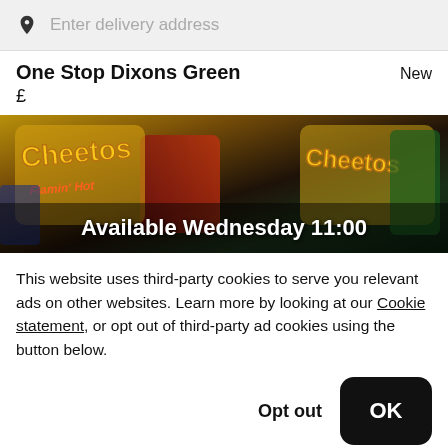Enter delivery address
One Stop Dixons Green
New
£
[Figure (photo): Banner image showing Cheetos snack packets (Flamin' Hot and Original varieties) with overlay text reading 'Available Wednesday 11:00']
This website uses third-party cookies to serve you relevant ads on other websites. Learn more by looking at our Cookie statement, or opt out of third-party ad cookies using the button below.
Opt out
OK